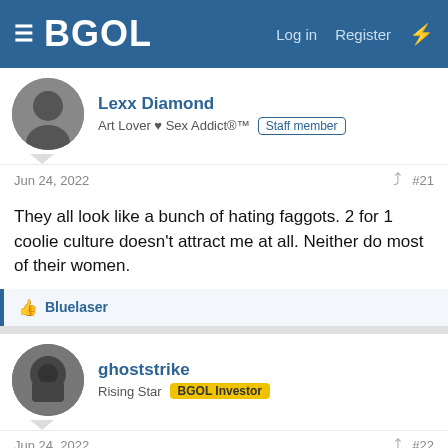BGOL | Log in | Register
Lexx Diamond
Art Lover ♥ Sex Addict®™ [Staff member]
Jun 24, 2022  #21
They all look like a bunch of hating faggots. 2 for 1 coolie culture doesn't attract me at all. Neither do most of their women.
👍 Bluelaser
ghoststrike
Rising Star [BGOL Investor]
Jun 24, 2022  #22
2missedcalls said: ↑
THAT'S a crime?!!!!